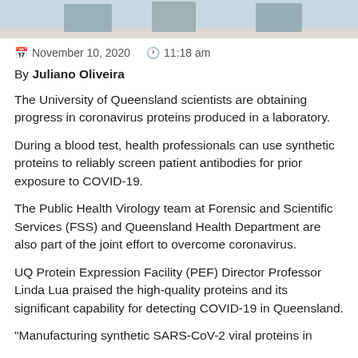[Figure (photo): Bottom portion of a photo showing people, cropped at top of page]
November 10, 2020   11:18 am
By Juliano Oliveira
The University of Queensland scientists are obtaining progress in coronavirus proteins produced in a laboratory.
During a blood test, health professionals can use synthetic proteins to reliably screen patient antibodies for prior exposure to COVID-19.
The Public Health Virology team at Forensic and Scientific Services (FSS) and Queensland Health Department are also part of the joint effort to overcome coronavirus.
UQ Protein Expression Facility (PEF) Director Professor Linda Lua praised the high-quality proteins and its significant capability for detecting COVID-19 in Queensland.
"Manufacturing synthetic SARS-CoV-2 viral proteins in